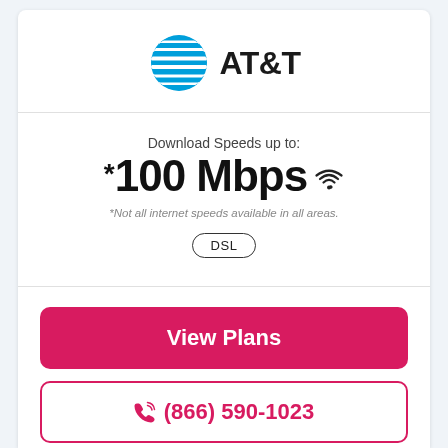[Figure (logo): AT&T globe logo (blue striped sphere) with AT&T wordmark in bold black]
Download Speeds up to:
*100 Mbps [wifi icon]
*Not all internet speeds available in all areas.
DSL
View Plans
(866) 590-1023
100% Available